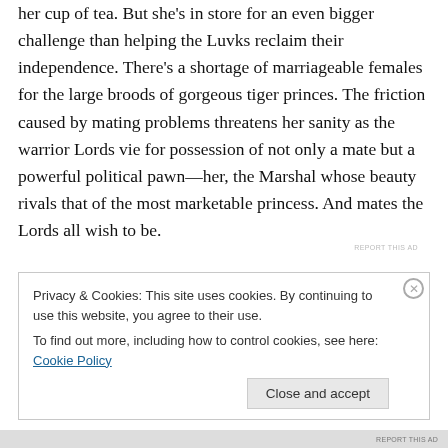her cup of tea. But she's in store for an even bigger challenge than helping the Luvks reclaim their independence. There's a shortage of marriageable females for the large broods of gorgeous tiger princes. The friction caused by mating problems threatens her sanity as the warrior Lords vie for possession of not only a mate but a powerful political pawn—her, the Marshal whose beauty rivals that of the most marketable princess. And mates the Lords all wish to be.
Privacy & Cookies: This site uses cookies. By continuing to use this website, you agree to their use.
To find out more, including how to control cookies, see here: Cookie Policy
Close and accept